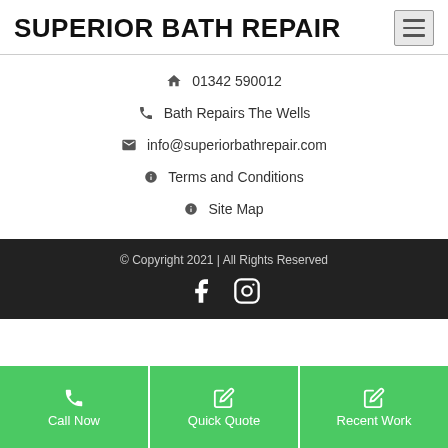SUPERIOR BATH REPAIR
01342 590012
Bath Repairs The Wells
info@superiorbathrepair.com
Terms and Conditions
Site Map
© Copyright 2021 | All Rights Reserved
Call Now
Quick Quote
Recent Work